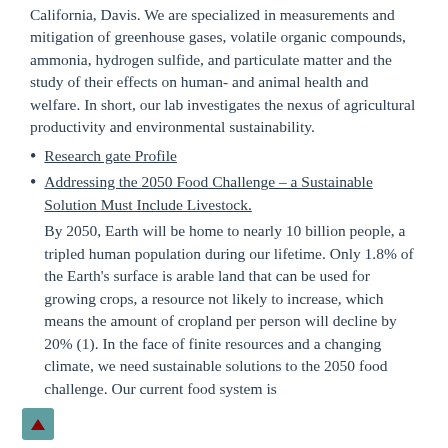California, Davis. We are specialized in measurements and mitigation of greenhouse gases, volatile organic compounds, ammonia, hydrogen sulfide, and particulate matter and the study of their effects on human- and animal health and welfare. In short, our lab investigates the nexus of agricultural productivity and environmental sustainability.
Research gate Profile
Addressing the 2050 Food Challenge – a Sustainable Solution Must Include Livestock.
By 2050, Earth will be home to nearly 10 billion people, a tripled human population during our lifetime. Only 1.8% of the Earth's surface is arable land that can be used for growing crops, a resource not likely to increase, which means the amount of cropland per person will decline by 20% (1). In the face of finite resources and a changing climate, we need sustainable solutions to the 2050 food challenge. Our current food system is